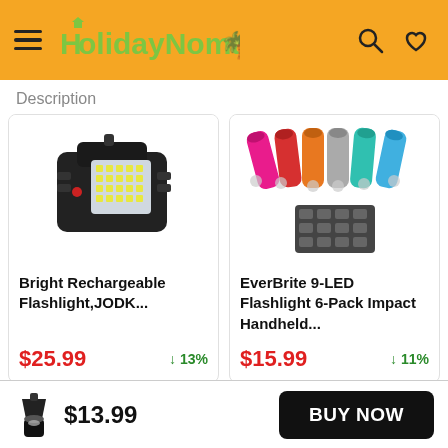HolidayNomad
Description
[Figure (photo): Black rechargeable LED work light / flashlight with bright LED panel, shown at angle]
Bright Rechargeable Flashlight,JODK...
$25.99   ↓13%
[Figure (photo): EverBrite 9-LED Flashlight 6-Pack in multiple colors (pink, red, orange, gray, teal, blue) plus a pack of batteries]
EverBrite 9-LED Flashlight 6-Pack Impact Handheld...
$15.99   ↓11%
$13.99   BUY NOW